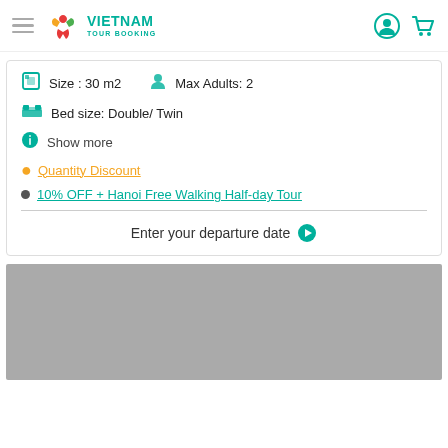Vietnam Tour Booking
Size : 30 m2    Max Adults: 2
Bed size: Double/ Twin
Show more
Quantity Discount
10% OFF + Hanoi Free Walking Half-day Tour
Enter your departure date
[Figure (photo): Grey placeholder image area]